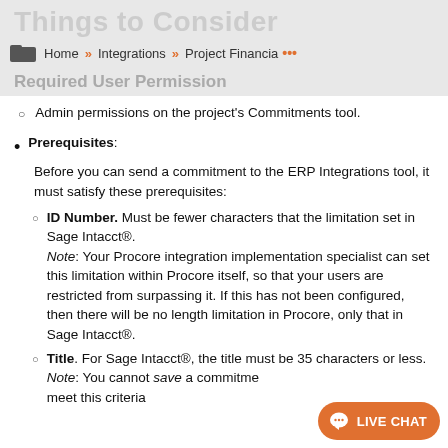Things to Consider
Home » Integrations » Project Financia ...
Required User Permission
Admin permissions on the project's Commitments tool.
Prerequisites: Before you can send a commitment to the ERP Integrations tool, it must satisfy these prerequisites:
ID Number. Must be fewer characters that the limitation set in Sage Intacct®. Note: Your Procore integration implementation specialist can set this limitation within Procore itself, so that your users are restricted from surpassing it. If this has not been configured, then there will be no length limitation in Procore, only that in Sage Intacct®.
Title. For Sage Intacct®, the title must be 35 characters or less. Note: You cannot save a commitment that does not meet this criteria.